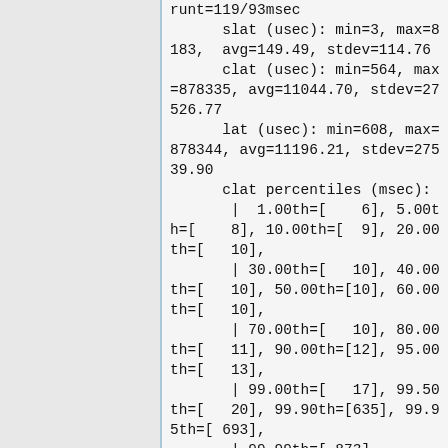runt=119/93msec
      slat (usec): min=3, max=8183, avg=149.49, stdev=114.76
      clat (usec): min=564, max=878335, avg=11044.70, stdev=27526.77
      lat (usec): min=608, max=878344, avg=11196.21, stdev=27539.90
      clat percentiles (msec):
       |  1.00th=[    6], 5.00th=[    8], 10.00th=[  9], 20.00th=[   10],
       | 30.00th=[   10], 40.00th=[   10], 50.00th=[10], 60.00th=[   10],
       | 70.00th=[   10], 80.00th=[   11], 90.00th=[12], 95.00th=[   13],
       | 99.00th=[   17], 99.50th=[   20], 99.90th=[635], 99.95th=[ 693],
       | 99.99th=[ 873]